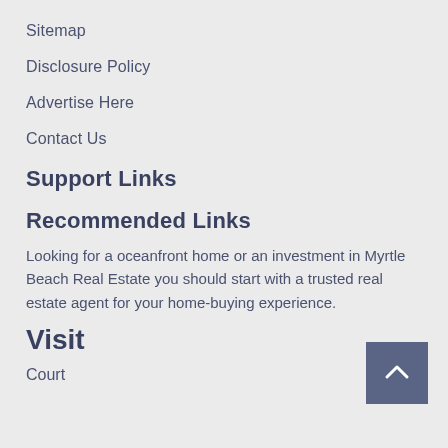Sitemap
Disclosure Policy
Advertise Here
Contact Us
Support Links
Recommended Links
Looking for a oceanfront home or an investment in Myrtle Beach Real Estate you should start with a trusted real estate agent for your home-buying experience.
Visit
Court